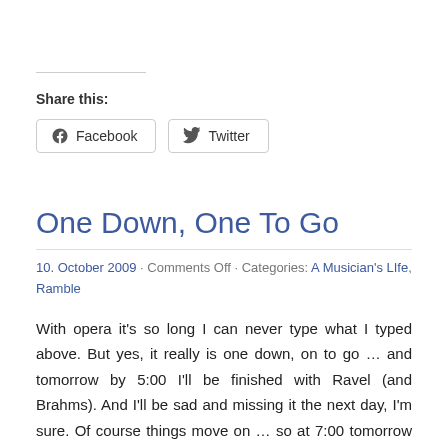Share this:
Facebook  Twitter
One Down, One To Go
10. October 2009 · Comments Off · Categories: A Musician's LIfe, Ramble
With opera it's so long I can never type what I typed above. But yes, it really is one down, on to go … and tomorrow by 5:00 I'll be finished with Ravel (and Brahms). And I'll be sad and missing it the next day, I'm sure. Of course things move on … so at 7:00 tomorrow night I have a woodwind quintet rehearsal. The fun never ends!